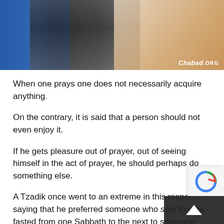[Figure (photo): Photo of people in what appears to be a learning or prayer setting, with a Chabad.org watermark in the bottom right corner.]
When one prays one does not necessarily acquire anything.
On the contrary, it is said that a person should not even enjoy it.
If he gets pleasure out of prayer, out of seeing himself in the act of prayer, he should perhaps do something else.
A Tzadik once went to an extreme in this respect–saying that he preferred someone who said that he fasted from one Sabbath to the next to someone who actually fasted, because a person who claims to fast deceives only others whereas a person who actually fasts deceives himself.
So long as there is a feeling of triumph or satisfaction, the point is missed.